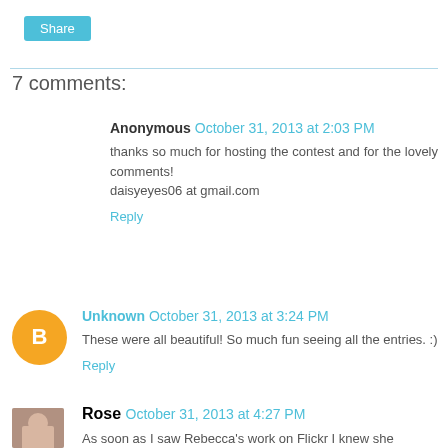Share
7 comments:
Anonymous October 31, 2013 at 2:03 PM
thanks so much for hosting the contest and for the lovely comments!
daisyeyes06 at gmail.com
Reply
Unknown October 31, 2013 at 3:24 PM
These were all beautiful! So much fun seeing all the entries. :)
Reply
Rose October 31, 2013 at 4:27 PM
As soon as I saw Rebecca's work on Flickr I knew she